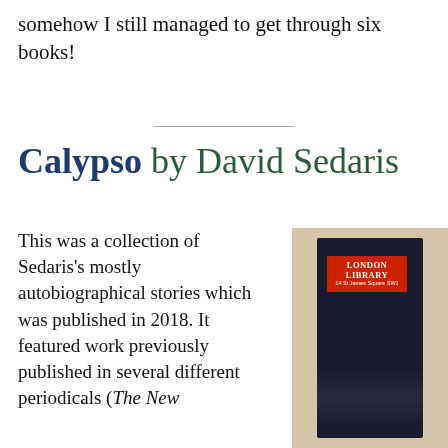somehow I still managed to get through six books!
Calypso by David Sedaris
This was a collection of Sedaris's mostly autobiographical stories which was published in 2018. It featured work previously published in several different periodicals (The New
[Figure (photo): A dark navy book spine with a London Library label (red background, white text reading LONDON LIBRARY 14 St James Square SW1), photographed against a beige background.]